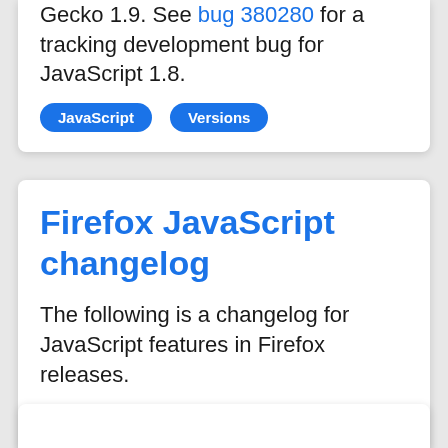Gecko 1.9. See bug 380280 for a tracking development bug for JavaScript 1.8.
JavaScript | Versions
Firefox JavaScript changelog
The following is a changelog for JavaScript features in Firefox releases.
JavaScript | Versions